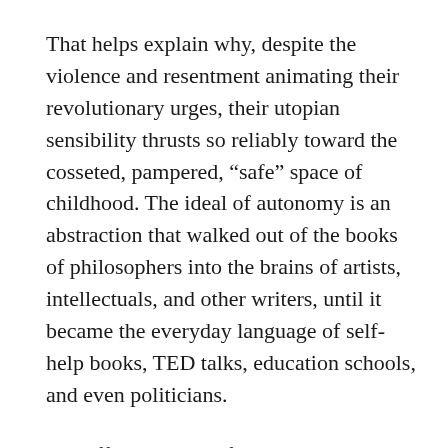That helps explain why, despite the violence and resentment animating their revolutionary urges, their utopian sensibility thrusts so reliably toward the cosseted, pampered, “safe” space of childhood. The ideal of autonomy is an abstraction that walked out of the books of philosophers into the brains of artists, intellectuals, and other writers, until it became the everyday language of self-help books, TED talks, education schools, and even politicians.
The effectual truth of autonomy, however, is not some kind of spiritual discipline—it’s being a consumer in the Disney fantasy that